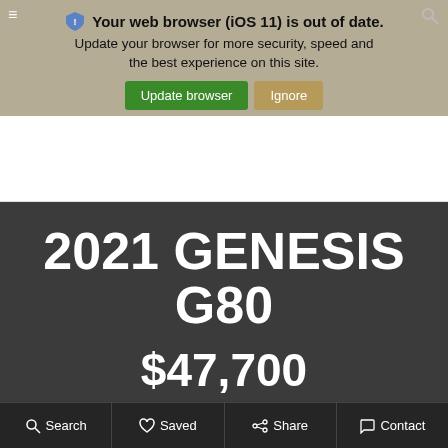Your web browser (iOS 11) is out of date. Update your browser for more security, speed and the best experience on this site.
Update browser | Ignore
2021 GENESIS G80
$47,700
Search | Saved | Share | Contact